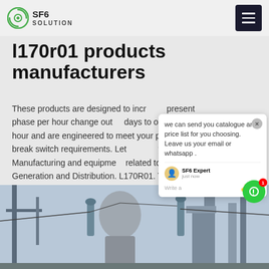SF6 SOLUTION
l170r01 products manufacturers
These products are designed to increase present phase per hour change out days to one phase per hour and are engineered to meet your present repairbreak switch requirements. Let us help your Contact Manufacturing and equipment related to Power Generation and Distribution. L170R01. The
Get Price
[Figure (photo): Industrial electrical substation equipment with large transformers and towers photographed from ground level]